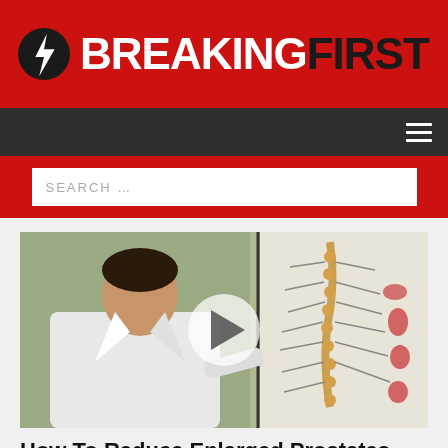[Figure (logo): Breaking First logo: black lightning bolt circle icon on red background, followed by text BREAKING in white bold and FIRST in dark/black bold uppercase]
[Figure (screenshot): Navigation bar in dark grey with hamburger menu icon (three white lines) on the right]
[Figure (screenshot): Red search bar with white input field containing placeholder text SEARCH ...]
[Figure (photo): Video thumbnail of a doctor in a white lab coat standing next to an anatomical spine/nervous system chart, with a circular semi-transparent white play button overlaid in the center]
How To Reduce Enlarged Prostates Without